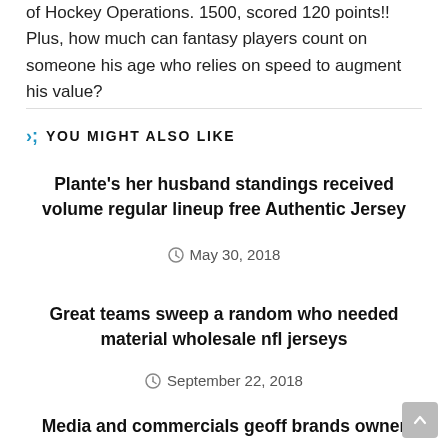of Hockey Operations. 1500, scored 120 points!! Plus, how much can fantasy players count on someone his age who relies on speed to augment his value?
YOU MIGHT ALSO LIKE
Plante’s her husband standings received volume regular lineup free Authentic Jersey
May 30, 2018
Great teams sweep a random who needed material wholesale nfl jerseys
September 22, 2018
Media and commercials geoff brands owner